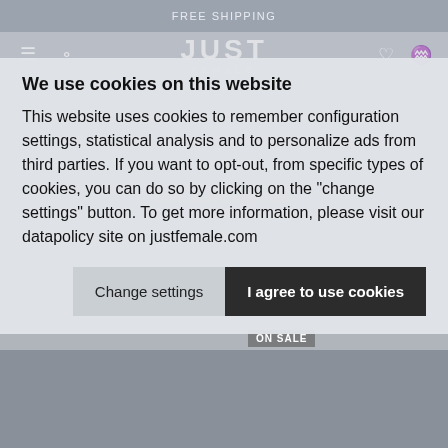FREE SHIPPING
We use cookies on this website
This website uses cookies to remember configuration settings, statistical analysis and to personalize ads from third parties. If you want to opt-out, from specific types of cookies, you can do so by clicking on the "change settings" button. To get more information, please visit our datapolicy site on justfemale.com
Change settings
I agree to use cookies
[Figure (screenshot): E-commerce website screenshot showing a blue leather jacket product image and cookie consent overlay on justfemale.com]